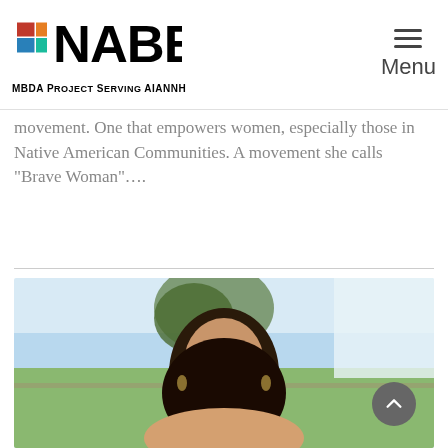[Figure (logo): NABEDC logo with colorful N icon and text 'NABEDC MBDA Project Serving AIANNH']
movement. One that empowers women, especially those in Native American Communities. A movement she calls “Brave Woman”....
[Figure (photo): Portrait photo of a woman with long dark hair, smiling, standing outdoors near a tree with water and greenery in the background]